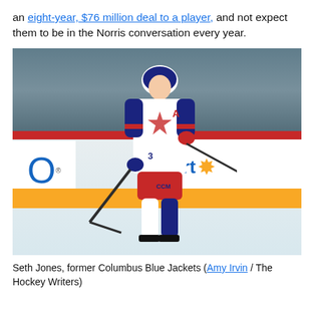an eight-year, $76 million deal to a player, and not expect them to be in the Norris conversation every year.
[Figure (photo): Seth Jones, former Columbus Blue Jackets player, skating on ice wearing white Blue Jackets jersey with navy and red accents, number 3, at an NHL arena. Walmart advertising board visible in background.]
Seth Jones, former Columbus Blue Jackets (Amy Irvin / The Hockey Writers)